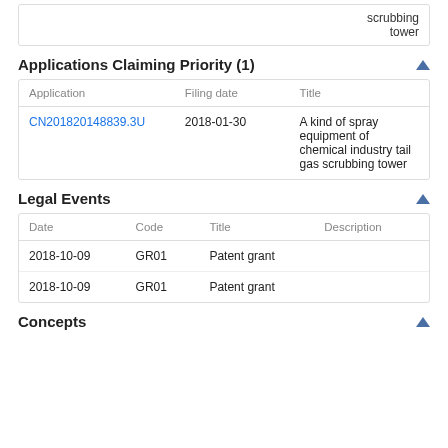|  | scrubbing tower |
| --- | --- |
|  | scrubbing
tower |
Applications Claiming Priority (1)
| Application | Filing date | Title |
| --- | --- | --- |
| CN201820148839.3U | 2018-01-30 | A kind of spray equipment of chemical industry tail gas scrubbing tower |
Legal Events
| Date | Code | Title | Description |
| --- | --- | --- | --- |
| 2018-10-09 | GR01 | Patent grant |  |
| 2018-10-09 | GR01 | Patent grant |  |
Concepts